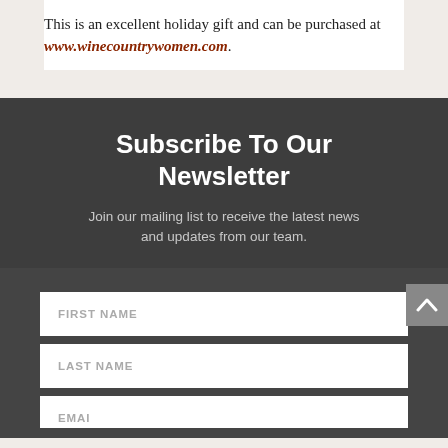This is an excellent holiday gift and can be purchased at www.winecountrywomen.com.
Subscribe To Our Newsletter
Join our mailing list to receive the latest news and updates from our team.
FIRST NAME
LAST NAME
EMAIL